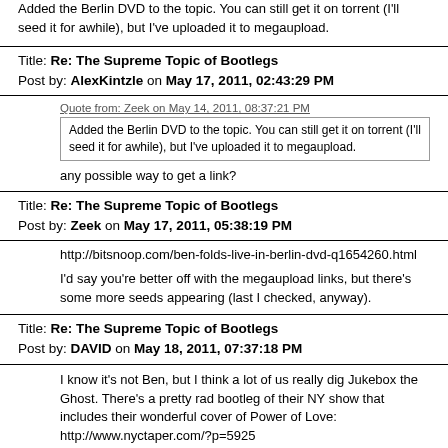Added the Berlin DVD to the topic.  You can still get it on torrent (I'll seed it for awhile), but I've uploaded it to megaupload.
Title: Re: The Supreme Topic of Bootlegs
Post by: AlexKintzle on May 17, 2011, 02:43:29 PM
Quote from: Zeek on May 14, 2011, 08:37:21 PM
Added the Berlin DVD to the topic.  You can still get it on torrent (I'll seed it for awhile), but I've uploaded it to megaupload.
any possible way to get a link?
Title: Re: The Supreme Topic of Bootlegs
Post by: Zeek on May 17, 2011, 05:38:19 PM
http://bitsnoop.com/ben-folds-live-in-berlin-dvd-q1654260.html

I'd say you're better off with the megaupload links, but there's some more seeds appearing (last I checked, anyway).
Title: Re: The Supreme Topic of Bootlegs
Post by: DAVID on May 18, 2011, 07:37:18 PM
I know it's not Ben, but I think a lot of us really dig Jukebox the Ghost.  There's a pretty rad bootleg of their NY show that includes their wonderful cover of Power of Love:
http://www.nyctaper.com/?p=5925